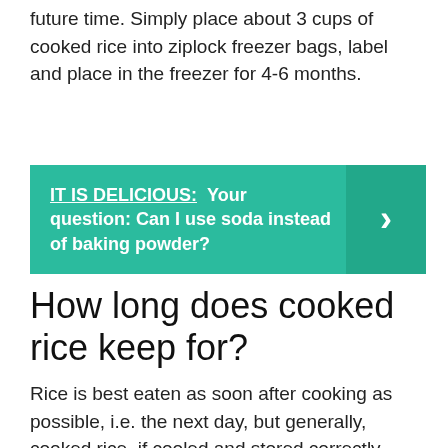future time. Simply place about 3 cups of cooked rice into ziplock freezer bags, label and place in the freezer for 4-6 months.
[Figure (infographic): Teal callout box with text: IT IS DELICIOUS: Your question: Can I use soda instead of baking powder? with a right-arrow chevron on the right side.]
How long does cooked rice keep for?
Rice is best eaten as soon after cooking as possible, i.e. the next day, but generally, cooked rice, if cooled and stored correctly, lasts three to five days. The USA Rice Federation recommends only storing cooked rice leftovers for set periods: In the fridge, cooked rice leftovers may be stored for 3 to